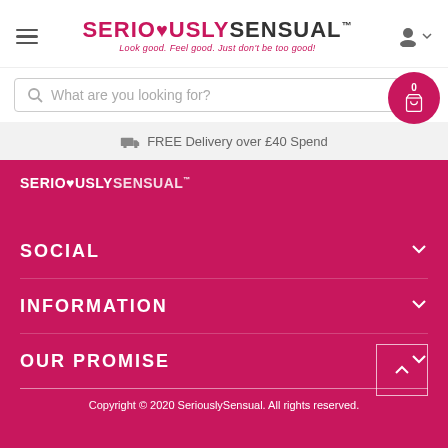[Figure (logo): SeriouslySensual logo with heart symbol and tagline: Look good. Feel good. Just don't be too good!]
What are you looking for?
FREE Delivery over £40 Spend
[Figure (logo): SeriouslySensual footer logo in white on pink background]
SOCIAL
INFORMATION
OUR PROMISE
Copyright © 2020 SeriouslySensual. All rights reserved.